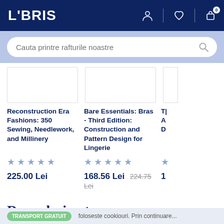LIBRIS
Cauta printre rafturile noastre
Reconstruction Era Fashions: 350 Sewing, Needlework, and Millinery
Bare Essentials: Bras - Third Edition: Construction and Pattern Design for Lingerie
225.00 Lei
168.56 Lei 224.75 Lei
De acelasi autor
TRANSPORT GRATUIT foloseste cookiouri. Prin continuare...